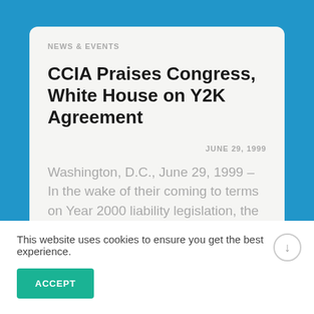NEWS & EVENTS
CCIA Praises Congress, White House on Y2K Agreement
JUNE 29, 1999
Washington, D.C., June 29, 1999 – In the wake of their coming to terms on Year 2000 liability legislation, the Computer & Communications
This website uses cookies to ensure you get the best experience.
ACCEPT